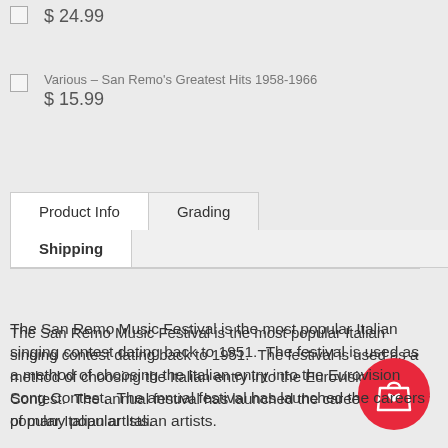$ 24.99
Various – San Remo's Greatest Hits 1958-1966
$ 15.99
| Product Info | Grading |
| --- | --- |
| Shipping |  |
The San Remo Music Festival is the most popular Italian singing contest dating back to 1951.  The festival is used as a method of choosing the Italian entry into the Eurovision Song Contest.  The annual festival has launched the careers of many popular Italian artists.
This album features twelve of the top songs from the 1963 festival and is a MONO pressing, and a promotional copy.
Style: Latin, Pop, Folk, World, & Country
Vinyl: EX
[Figure (illustration): Red circular shopping bag button with heart icon]